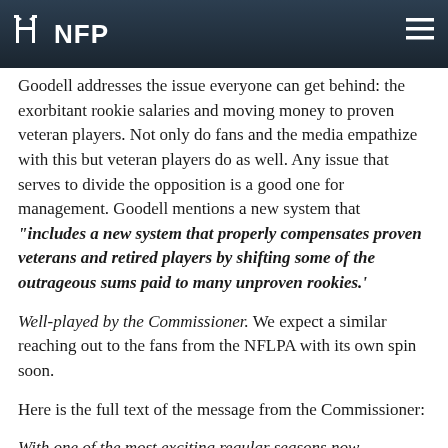NFP
Goodell addresses the issue everyone can get behind: the exorbitant rookie salaries and moving money to proven veteran players. Not only do fans and the media empathize with this but veteran players do as well. Any issue that serves to divide the opposition is a good one for management. Goodell mentions a new system that “includes a new system that properly compensates proven veterans and retired players by shifting some of the outrageous sums paid to many unproven rookies.’
Well-played by the Commissioner. We expect a similar reaching out to the fans from the NFLPA with its own spin soon.
Here is the full text of the message from the Commissioner:
With one of the most exciting regular seasons now completed